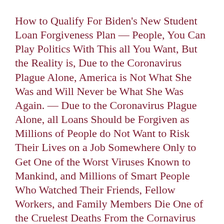How to Qualify For Biden's New Student Loan Forgiveness Plan — People, You Can Play Politics With This all You Want, But the Reality is, Due to the Coronavirus Plague Alone, America is Not What She Was and Will Never be What She Was Again. — Due to the Coronavirus Plague Alone, all Loans Should be Forgiven as Millions of People do Not Want to Risk Their Lives on a Job Somewhere Only to Get One of the Worst Viruses Known to Mankind, and Millions of Smart People Who Watched Their Friends, Fellow Workers, and Family Members Die One of the Cruelest Deaths From the Cornavirus Plague Have Quit Their Jobs in What